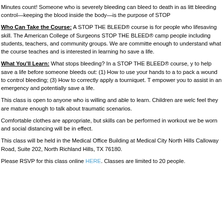Minutes count! Someone who is severely bleeding can bleed to death in as little as five minutes. Stopping bleeding control—keeping the blood inside the body—is the purpose of STOP THE BLEED®.
Who Can Take the Course: A STOP THE BLEED® course is for people who want to learn this lifesaving skill. The American College of Surgeons STOP THE BLEED® campaign is designed for all people including students, teachers, and community groups. We are committed to training anyone old enough to understand what the course teaches and is interested in learning how to use these skills to save a life.
What You'll Learn: What stops bleeding? In a STOP THE BLEED® course, you will learn how to help save a life before someone bleeds out: (1) How to use your hands to apply pressure; (2) How to pack a wound to control bleeding; (3) How to correctly apply a tourniquet. This course will empower you to assist in an emergency and potentially save a life.
This class is open to anyone who is willing and able to learn. Children are welcome if parents feel they are mature enough to talk about traumatic scenarios.
Comfortable clothes are appropriate, but skills can be performed in workout wear. Masks will be worn and social distancing will be in effect.
This class will be held in the Medical Office Building at Medical City North Hills, 4851 Calloway Road, Suite 202, North Richland Hills, TX 76180.
Please RSVP for this class online HERE. Classes are limited to 20 people.